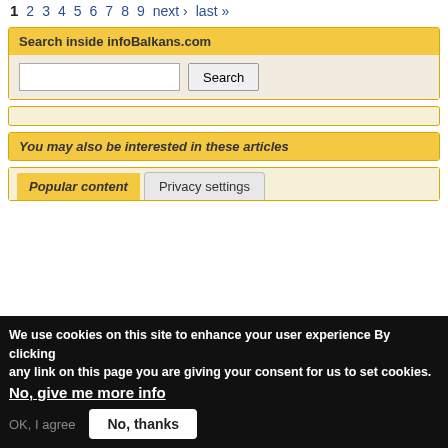1 2 3 4 5 6 7 8 9 next › last »
Search inside infoBalkans.com
Search
You may also be interested in these articles
Popular content
Privacy settings
We use cookies on this site to enhance your user experience By clicking any link on this page you are giving your consent for us to set cookies.
No, give me more info
OK, I agree
No, thanks